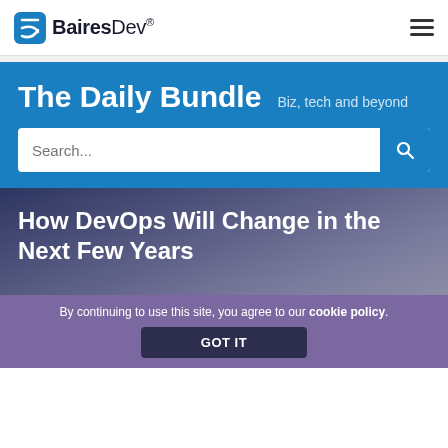[Figure (logo): BairesDev logo with circular icon and text]
The Daily Bundle  Biz, tech and beyond
How DevOps Will Change in the Next Few Years
[Figure (illustration): 3D illustration of interconnected nodes/devices on a dark gradient background representing DevOps workflow]
By continuing to use this site, you agree to our cookie policy.
GOT IT